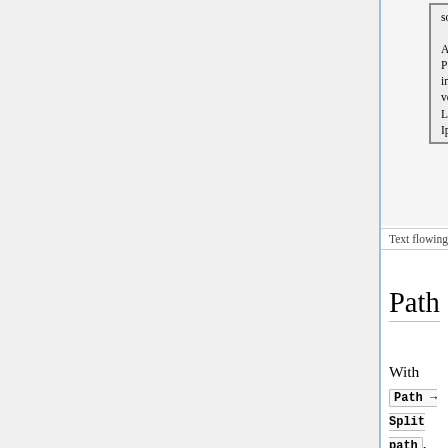[Figure (table-as-image): Partial view of a table showing two columns with Lorem Ipsum text about desktop publishing software like Aldus PageMaker and some humorous/contrast text.]
Text flowing around a shape and then text paddi...
Path Operations
With Path → Split path , Inkscape now has functionality to separate a path object that consists of multiple subpaths into a set of path objects that 'belong together'. This means that parts of a path that have holes in them are kept as whole objects. The function works by splitting up a path into non-intersecting bits, keeping intersecting bits together.
Example: A path that consists of a word, like 'Inkscape' will be split into 8 parts, one for each letter. With the familiar